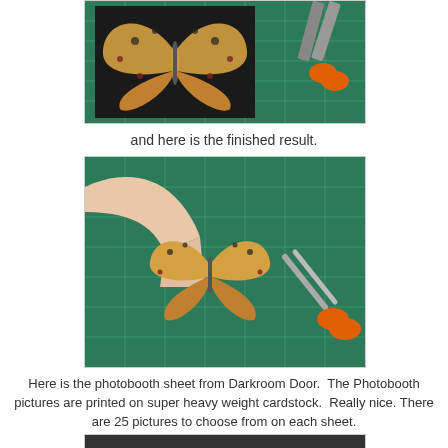[Figure (photo): Butterfly cutout on dark background with orange-handled scissors on green cutting mat]
and here is the finished result.
[Figure (photo): Hand holding a paper butterfly cutout next to scissors on a green cutting mat]
Here is the photobooth sheet from Darkroom Door.  The Photobooth pictures are printed on super heavy weight cardstock.  Really nice. There are 25 pictures to choose from on each sheet.
[Figure (photo): Bottom of another photo partially visible]